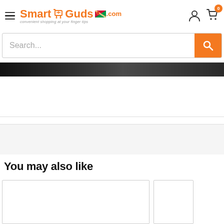SmartGuds.com – convenient shopping at your finger tips
[Figure (screenshot): Search bar with orange search button]
[Figure (photo): Dark banner image strip at top]
You may also like
[Figure (screenshot): Product cards in 'You may also like' section]